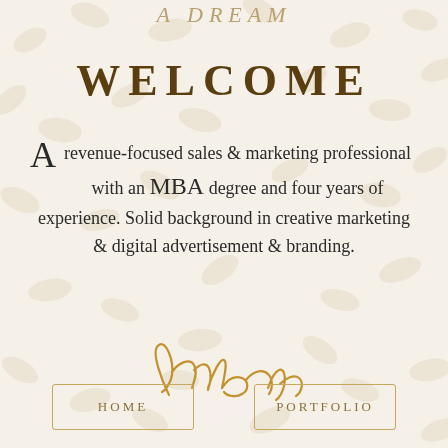A DREAM
WELCOME
A revenue-focused sales & marketing professional with an MBA degree and four years of experience. Solid background in creative marketing & digital advertisement & branding.
[Figure (illustration): Cursive signature reading 'Anit morla' in gold/brown ink]
HOME
PORTFOLIO